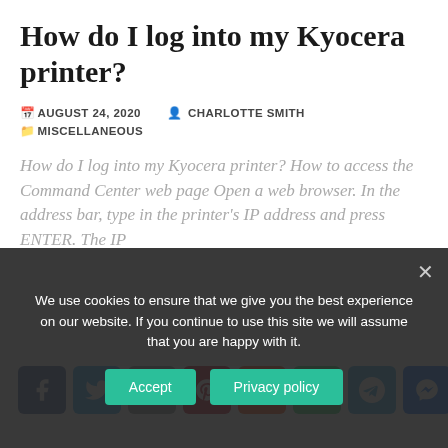How do I log into my Kyocera printer?
AUGUST 24, 2020  CHARLOTTE SMITH  MISCELLANEOUS
How do I log into my Kyocera printer? How to access the Command Center web page Open a web browser. In the address bar, type in the printer's IP address and press ENTER. The IP
[Figure (infographic): Social media share buttons: Facebook, Twitter, Email, Pinterest, Reddit, WhatsApp, Telegram, Messenger, Share]
We use cookies to ensure that we give you the best experience on our website. If you continue to use this site we will assume that you are happy with it.